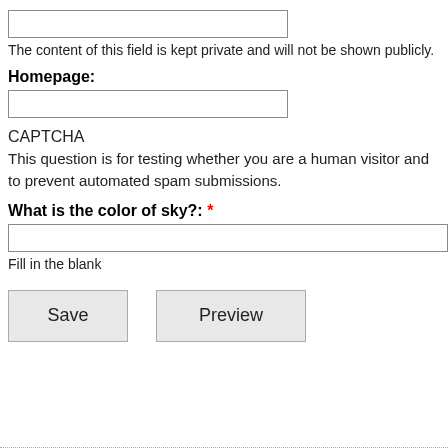[Figure (other): Empty text input field (top, for private field)]
The content of this field is kept private and will not be shown publicly.
Homepage:
[Figure (other): Empty text input field for Homepage]
CAPTCHA
This question is for testing whether you are a human visitor and to prevent automated spam submissions.
What is the color of sky?: *
[Figure (other): Empty text input field for CAPTCHA answer]
Fill in the blank
[Figure (other): Save button and Preview button]